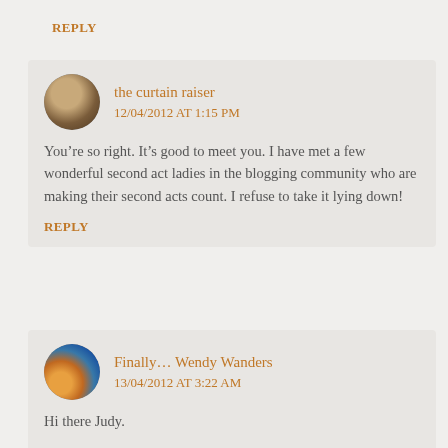REPLY
the curtain raiser
12/04/2012 AT 1:15 PM
You’re so right. It’s good to meet you. I have met a few wonderful second act ladies in the blogging community who are making their second acts count. I refuse to take it lying down!
REPLY
Finally… Wendy Wanders
13/04/2012 AT 3:22 AM
Hi there Judy.